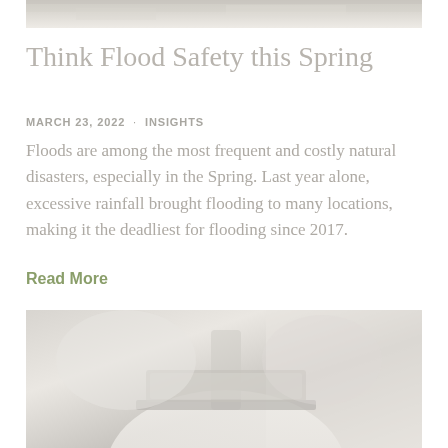[Figure (photo): Top portion of a photo — appears to be a light-colored textured surface or fabric, partially visible at the top of the page.]
Think Flood Safety this Spring
MARCH 23, 2022 · INSIGHTS
Floods are among the most frequent and costly natural disasters, especially in the Spring. Last year alone, excessive rainfall brought flooding to many locations, making it the deadliest for flooding since 2017.
Read More
[Figure (photo): Bottom portion of a photo showing a person in a white shirt working on a laptop, partially visible at the bottom of the page.]